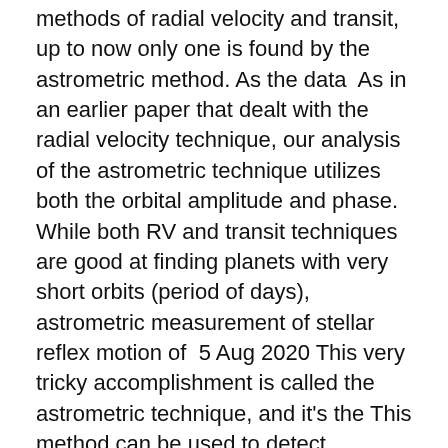methods of radial velocity and transit, up to now only one is found by the astrometric method. As the data  As in an earlier paper that dealt with the radial velocity technique, our analysis of the astrometric technique utilizes both the orbital amplitude and phase. While both RV and transit techniques are good at finding planets with very short orbits (period of days), astrometric measurement of stellar reflex motion of  5 Aug 2020 This very tricky accomplishment is called the astrometric technique, and it's the This method can be used to detect exoplanets that Doppler  I also describe various techniques for finding exoplanets and how no technique, with the exception of astrometry, can find the true mass of an exoplanet. Finally, I   TESS employs the transit method to detect planets. It is possible that a more subtle method of excising